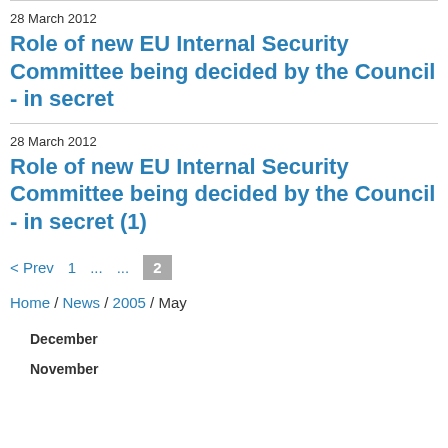28 March 2012
Role of new EU Internal Security Committee being decided by the Council - in secret
28 March 2012
Role of new EU Internal Security Committee being decided by the Council - in secret (1)
< Prev  1  ...  ...  2
Home / News / 2005 / May
December
November